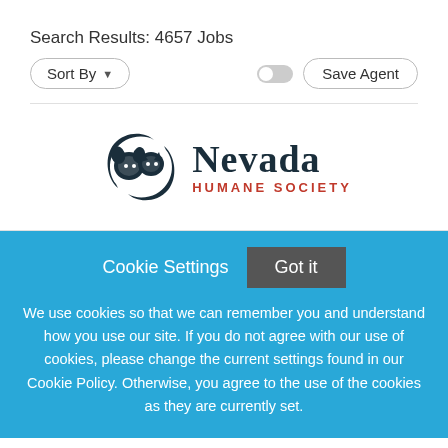Search Results: 4657 Jobs
Sort By
Save Agent
[Figure (logo): Nevada Humane Society logo with stylized dog and cat circular icon, 'Nevada' in dark serif text and 'HUMANE SOCIETY' in red capital letters below]
Cookie Settings
Got it
We use cookies so that we can remember you and understand how you use our site. If you do not agree with our use of cookies, please change the current settings found in our Cookie Policy. Otherwise, you agree to the use of the cookies as they are currently set.